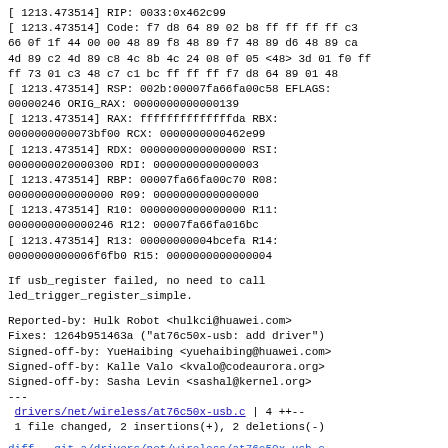[ 1213.473514] RIP: 0033:0x462c99
[ 1213.473514] Code: f7 d8 64 89 02 b8 ff ff ff ff c3
66 0f 1f 44 00 00 48 89 f8 48 89 f7 48 89 d6 48 89 ca
4d 89 c2 4d 89 c8 4c 8b 4c 24 08 0f 05 <48> 3d 01 f0 ff
ff 73 01 c3 48 c7 c1 bc ff ff ff f7 d8 64 89 01 48
[ 1213.473514] RSP: 002b:00007fa66fa00c58 EFLAGS:
00000246 ORIG_RAX: 0000000000000139
[ 1213.473514] RAX: ffffffffffffffda RBX:
0000000000073bf00 RCX: 000000000462e99
[ 1213.473514] RDX: 0000000000000000 RSI:
0000000020000300 RDI: 0000000000000003
[ 1213.473514] RBP: 00007fa66fa00c70 R08:
0000000000000000 R09: 0000000000000000
[ 1213.473514] R10: 0000000000000000 R11:
0000000000000246 R12: 00007fa66fa016bc
[ 1213.473514] R13: 00000000004bcefa R14:
0000000000006f6fb0 R15: 0000000000000004
If usb_register failed, no need to call
led_trigger_register_simple.
Reported-by: Hulk Robot <hulkci@huawei.com>
Fixes: 1264b951463a ("at76c50x-usb: add driver")
Signed-off-by: YueHaibing <yuehaibing@huawei.com>
Signed-off-by: Kalle Valo <kvalo@codeaurora.org>
Signed-off-by: Sasha Levin <sashal@kernel.org>
---
drivers/net/wireless/at76c50x-usb.c | 4 ++--
 1 file changed, 2 insertions(+), 2 deletions(-)
diff --git a/drivers/net/wireless/at76c50x-usb.c